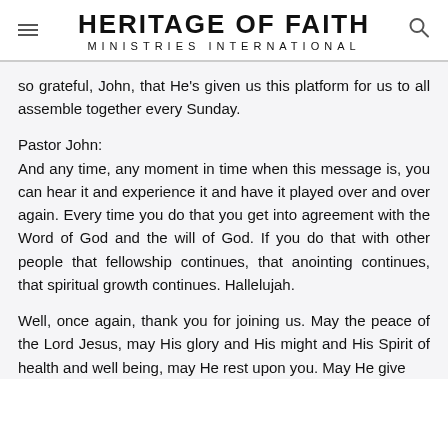HERITAGE OF FAITH MINISTRIES INTERNATIONAL
so grateful, John, that He's given us this platform for us to all assemble together every Sunday.
Pastor John:
And any time, any moment in time when this message is, you can hear it and experience it and have it played over and over again. Every time you do that you get into agreement with the Word of God and the will of God. If you do that with other people that fellowship continues, that anointing continues, that spiritual growth continues. Hallelujah.
Well, once again, thank you for joining us. May the peace of the Lord Jesus, may His glory and His might and His Spirit of health and well being, may He rest upon you. May He give